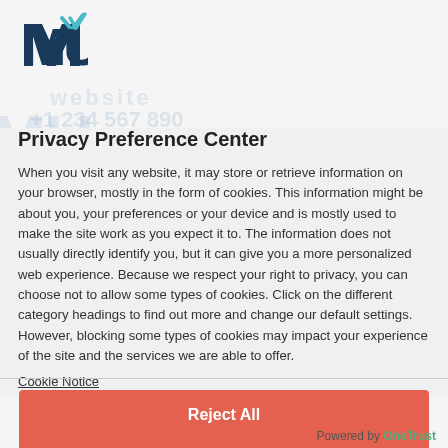[Figure (logo): MU logo - stylized M and U letters in dark blue with a checkmark accent, teal/blue colors]
Privacy Preference Center
When you visit any website, it may store or retrieve information on your browser, mostly in the form of cookies. This information might be about you, your preferences or your device and is mostly used to make the site work as you expect it to. The information does not usually directly identify you, but it can give you a more personalized web experience. Because we respect your right to privacy, you can choose not to allow some types of cookies. Click on the different category headings to find out more and change our default settings. However, blocking some types of cookies may impact your experience of the site and the services we are able to offer.
Cookie Notice
Reject All
Confirm My Choices
Powered by OneTrust